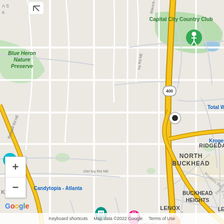[Figure (map): Google Maps view of North Buckhead area in Atlanta, Georgia. Shows highway 400, Peachtree Rd, Roswell Rd NE, Wieuca Rd NE, Old Ivy Rd NE, Ivy Rd NE, Roxboro Rd. Neighborhoods labeled: North Buckhead, Ridgedale Park, Buckhead Heights, Lenox, Buckhead Village. Points of interest: Blue Heron Nature Preserve, Capital City Country Club, Grand Hyatt Atlanta In Buckhead, Fogo de Chão Brazilian Steakhouse, Candytopia - Atlanta, Trader Joe's, Kroger, Total W. Route markers: 400, 237, 19. Map includes zoom controls (+/-), Google logo, and footer with keyboard shortcuts and copyright.]